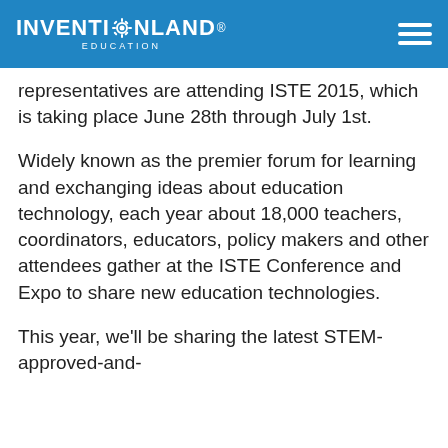INVENTIONLAND EDUCATION
representatives are attending ISTE 2015, which is taking place June 28th through July 1st.
Widely known as the premier forum for learning and exchanging ideas about education technology, each year about 18,000 teachers, coordinators, educators, policy makers and other attendees gather at the ISTE Conference and Expo to share new education technologies.
This year, we'll be sharing the latest STEM-approved-and-